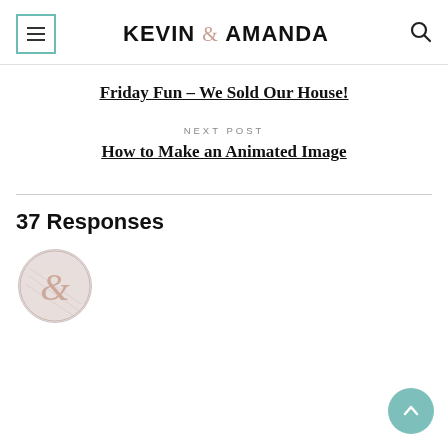KEVIN & AMANDA
Friday Fun – We Sold Our House!
NEXT POST
How to Make an Animated Image
37 Responses